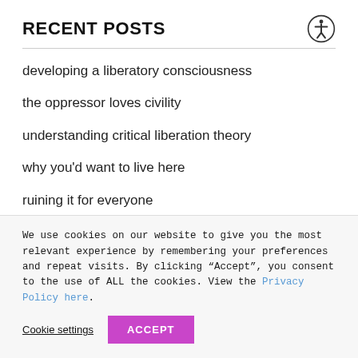RECENT POSTS
developing a liberatory consciousness
the oppressor loves civility
understanding critical liberation theory
why you'd want to live here
ruining it for everyone
We use cookies on our website to give you the most relevant experience by remembering your preferences and repeat visits. By clicking “Accept”, you consent to the use of ALL the cookies. View the Privacy Policy here.
Cookie settings | ACCEPT